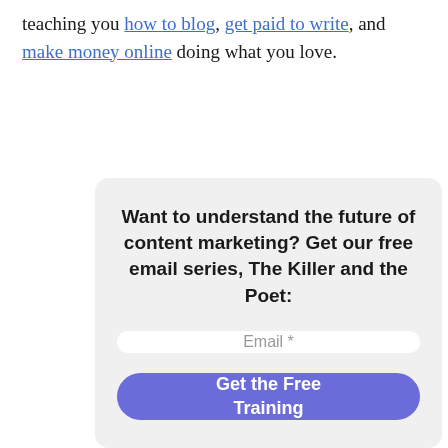teaching you how to blog, get paid to write, and make money online doing what you love.
[Figure (other): Email signup card with heading 'Want to understand the future of content marketing? Get our free email series, The Killer and the Poet:', an email input field, and a 'Get the Free Training' button]